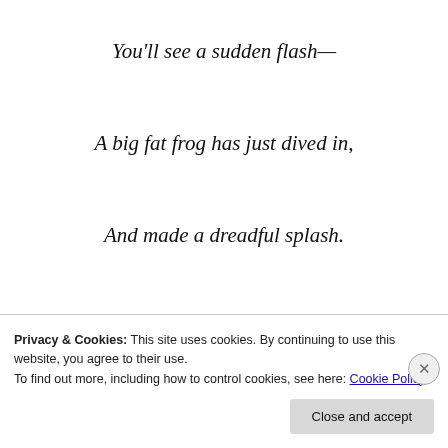You'll see a sudden flash—
A big fat frog has just dived in,
And made a dreadful splash.
The frightened fish swim swiftly round
In search of safe retreat,
The frog looks at the golden line
Privacy & Cookies: This site uses cookies. By continuing to use this website, you agree to their use.
To find out more, including how to control cookies, see here: Cookie Policy